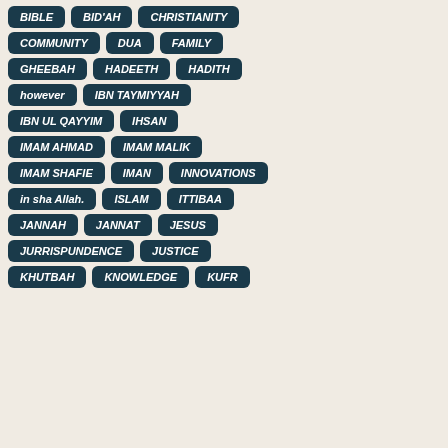BIBLE
BID'AH
CHRISTIANITY
COMMUNITY
DUA
FAMILY
GHEEBAH
HADEETH
HADITH
however
IBN TAYMIYYAH
IBN UL QAYYIM
IHSAN
IMAM AHMAD
IMAM MALIK
IMAM SHAFIE
IMAN
INNOVATIONS
in sha Allah.
ISLAM
ITTIBAA
JANNAH
JANNAT
JESUS
JURRISPUNDENCE
JUSTICE
KHUTBAH
KNOWLEDGE
KUFR